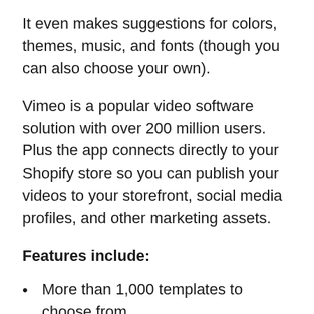It even makes suggestions for colors, themes, music, and fonts (though you can also choose your own).
Vimeo is a popular video software solution with over 200 million users. Plus the app connects directly to your Shopify store so you can publish your videos to your storefront, social media profiles, and other marketing assets.
Features include:
More than 1,000 templates to choose from
Brand your video with custom colors and logos